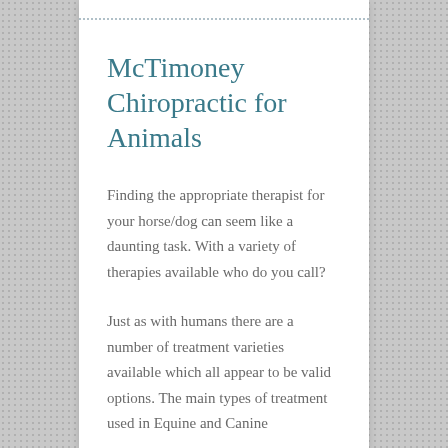McTimoney Chiropractic for Animals
Finding the appropriate therapist for your horse/dog can seem like a daunting task. With a variety of therapies available who do you call?
Just as with humans there are a number of treatment varieties available which all appear to be valid options. The main types of treatment used in Equine and Canine